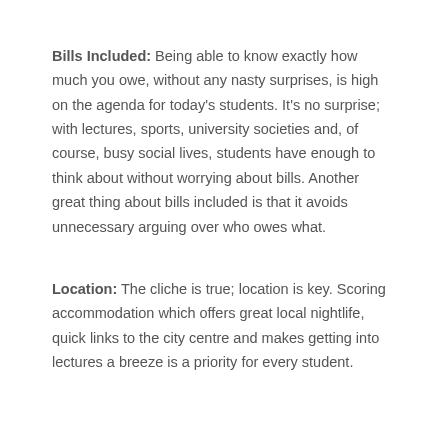Bills Included: Being able to know exactly how much you owe, without any nasty surprises, is high on the agenda for today's students. It's no surprise; with lectures, sports, university societies and, of course, busy social lives, students have enough to think about without worrying about bills. Another great thing about bills included is that it avoids unnecessary arguing over who owes what.
Location: The cliche is true; location is key. Scoring accommodation which offers great local nightlife, quick links to the city centre and makes getting into lectures a breeze is a priority for every student.